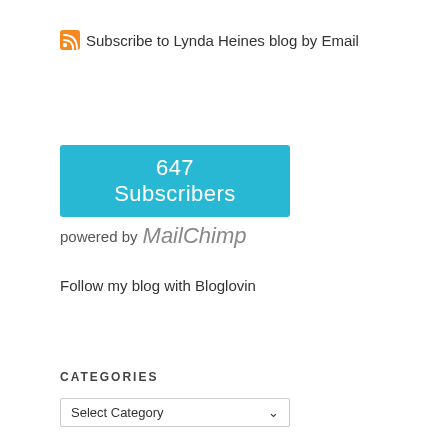Subscribe to Lynda Heines blog by Email
[Figure (infographic): 647 Subscribers button in cyan/teal color, followed by 'powered by MailChimp' text]
Follow my blog with Bloglovin
CATEGORIES
Select Category